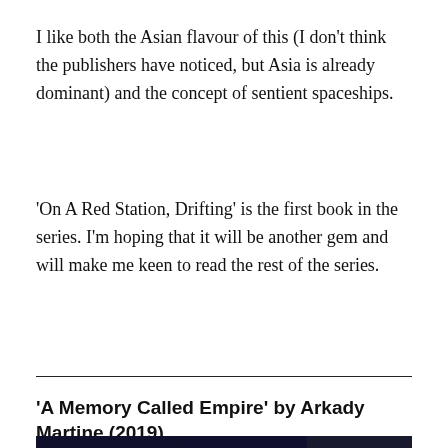I like both the Asian flavour of this (I don't think the publishers have noticed, but Asia is already dominant) and the concept of sentient spaceships.
'On A Red Station, Drifting' is the first book in the series. I'm hoping that it will be another gem and will make me keen to read the rest of the series.
'A Memory Called Empire' by Arkady Martine (2019)
[Figure (photo): Promotional image for 'A Memory Called Empire' showing book cover elements: left panel with text description of the book plot, center panel with dramatic light beams and the title 'A MEMORY' text, right panel with a photo of author Arkady Martine and a brief author bio.]